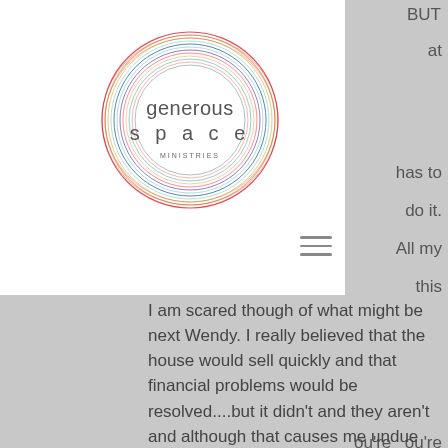[Figure (logo): Generous Space Ministries logo: colorful concentric circle rings with 'generous space' text and 'MINISTRIES' below, on a white background overlay card]
I am scared though of what might be next Wendy. I really believed that the house would sell quickly and that financial problems would be resolved....but it didn't and they aren't and although that causes me undue stress I am going to continue to fight the good fight. I think maybe financial stresses might even be a bit of the